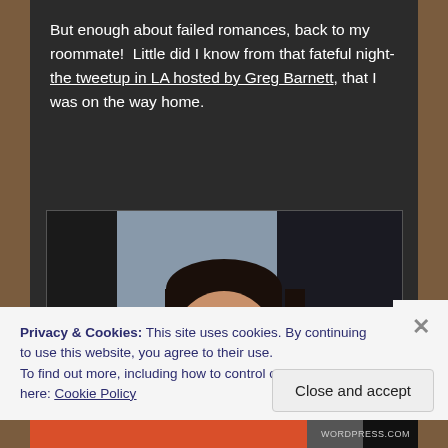But enough about failed romances, back to my roommate!  Little did I know from that fateful night- the tweetup in LA hosted by Greg Barnett, that I was on the way home.
[Figure (photo): Photo of a young man with glasses and short dark hair, wearing an orange t-shirt, smiling at the camera. The background is a blueish-gray backdrop with dark areas on the sides, suggesting a studio or semi-professional photography setting.]
Privacy & Cookies: This site uses cookies. By continuing to use this website, you agree to their use.
To find out more, including how to control cookies, see here: Cookie Policy
Close and accept